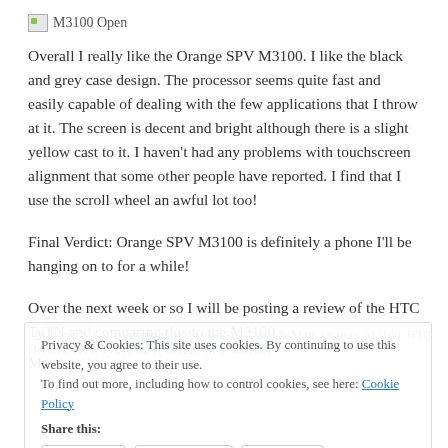[Figure (illustration): Broken image placeholder with label 'M3100 Open']
Overall I really like the Orange SPV M3100. I like the black and grey case design. The processor seems quite fast and easily capable of dealing with the few applications that I throw at it. The screen is decent and bright although there is a slight yellow cast to it. I haven't had any problems with touchscreen alignment that some other people have reported. I find that I use the scroll wheel an awful lot too!
Final Verdict: Orange SPV M3100 is definitely a phone I'll be hanging on to for a while!
Over the next week or so I will be posting a review of the HTC TyTN and comparing this to the M3100.
Matt
Privacy & Cookies: This site uses cookies. By continuing to use this website, you agree to their use. To find out more, including how to control cookies, see here: Cookie Policy
[Technorati tag(s): smartphone, Pocket PC, Tracy & Matt, Orange, M3100, HTC Hermes, HTC TyTN, SPV, Orange SPV M3100]
Share this:
Twitter Facebook Reddit Pinterest
Close and accept